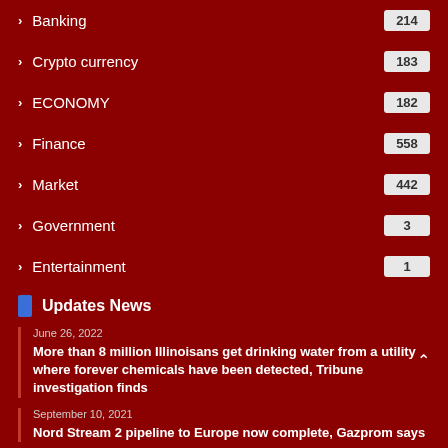Banking 214
Crypto currency 183
ECONOMY 182
Finance 558
Market 442
Government 3
Entertainment 1
Updates News
June 26, 2022
More than 8 million Illinoisans get drinking water from a utility where forever chemicals have been detected, Tribune investigation finds
September 10, 2021
Nord Stream 2 pipeline to Europe now complete, Gazprom says